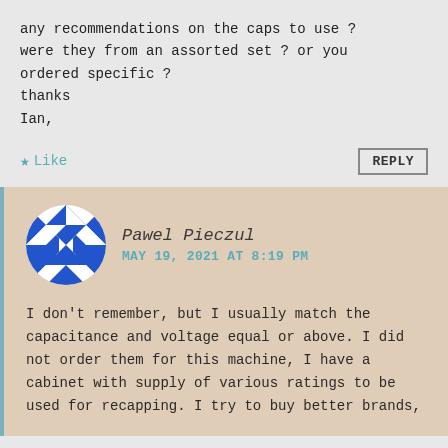any recommendations on the caps to use ?
were they from an assorted set ? or you
ordered specific ?
thanks
Ian,
★ Like
REPLY
Pawel Pieczul
MAY 19, 2021 AT 8:19 PM
I don't remember, but I usually match the capacitance and voltage equal or above. I did not order them for this machine, I have a cabinet with supply of various ratings to be used for recapping. I try to buy better brands,